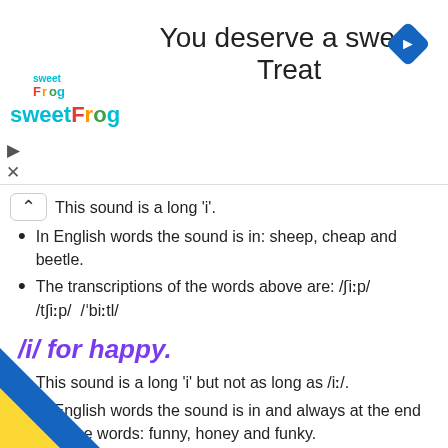[Figure (screenshot): SweetFrog advertisement banner with logo, headline 'You deserve a sweet Treat', and navigation icon]
This sound is a long 'i'.
In English words the sound is in: sheep, cheap and beetle.
The transcriptions of the words above are: /ʃiːp/ /tʃiːp/  /ˈbiːtl/
/i/ for happy.
This sound is a long 'i' but not as long as /iː/.
In English words the sound is in and always at the end of these words: funny, honey and funky.
The transcriptions of the words above are: /ˈfʊni/ / ni /  /fʌnki /